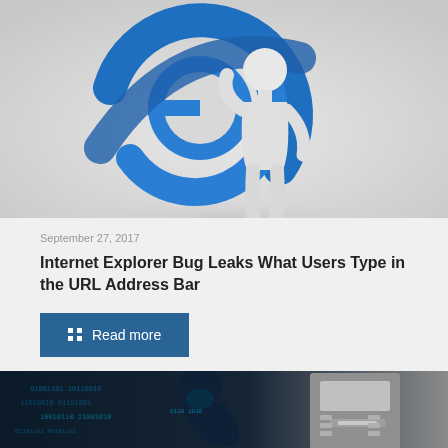[Figure (photo): A 3D white humanoid figure standing in front of the blue Internet Explorer logo, looking confused or troubled, on a light gray background.]
September 27, 2017
Internet Explorer Bug Leaks What Users Type in the URL Address Bar
Read more
[Figure (photo): A dark image showing a hooded hacker figure with blue-tinted digital code overlay, next to what appears to be an ATM machine.]